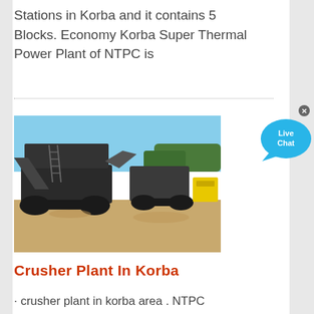Stations in Korba and it contains 5 Blocks. Economy Korba Super Thermal Power Plant of NTPC is
[Figure (photo): Industrial crusher/mining machinery on a dirt field with blue sky in background. Large tracked mobile crusher unit with conveyor belts and a yellow generator unit visible.]
[Figure (illustration): Live Chat bubble icon in blue with white text 'Live Chat' and an X close button]
Crusher Plant In Korba
· crusher plant in korba area . NTPC